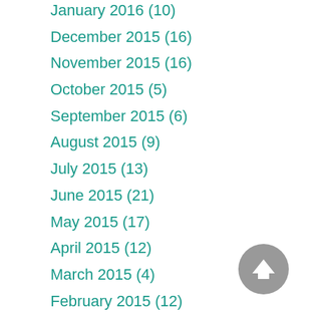January 2016 (10)
December 2015 (16)
November 2015 (16)
October 2015 (5)
September 2015 (6)
August 2015 (9)
July 2015 (13)
June 2015 (21)
May 2015 (17)
April 2015 (12)
March 2015 (4)
February 2015 (12)
January 2015 (10)
December 2014 (9)
November 2014 (18)
October 2014 (11)